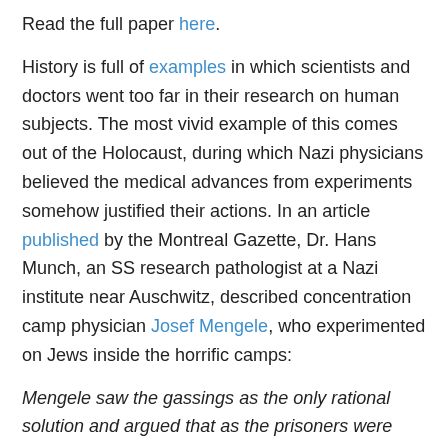Read the full paper here.
History is full of examples in which scientists and doctors went too far in their research on human subjects. The most vivid example of this comes out of the Holocaust, during which Nazi physicians believed the medical advances from experiments somehow justified their actions. In an article published by the Montreal Gazette, Dr. Hans Munch, an SS research pathologist at a Nazi institute near Auschwitz, described concentration camp physician Josef Mengele, who experimented on Jews inside the horrific camps:
Mengele saw the gassings as the only rational solution and argued that as the prisoners were going to be gassed anyway, there was no reason not to use them for medical experiments.